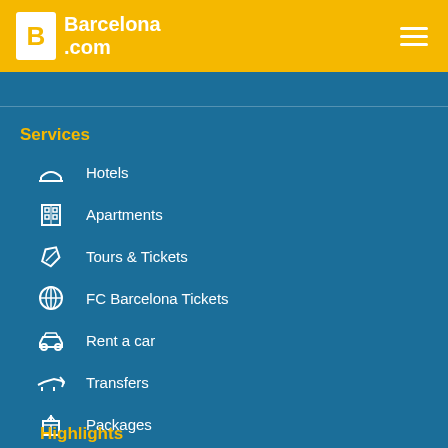[Figure (logo): Barcelona.com logo with yellow B icon on white background and white text on yellow header]
Services
Hotels
Apartments
Tours & Tickets
FC Barcelona Tickets
Rent a car
Transfers
Packages
Groups & events
Highlights